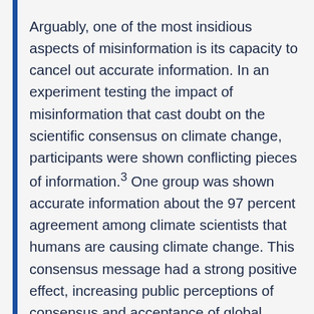Arguably, one of the most insidious aspects of misinformation is its capacity to cancel out accurate information. In an experiment testing the impact of misinformation that cast doubt on the scientific consensus on climate change, participants were shown conflicting pieces of information.³ One group was shown accurate information about the 97 percent agreement among climate scientists that humans are causing climate change. This consensus message had a strong positive effect, increasing public perceptions of consensus and acceptance of global warming. Another group of participants was shown an